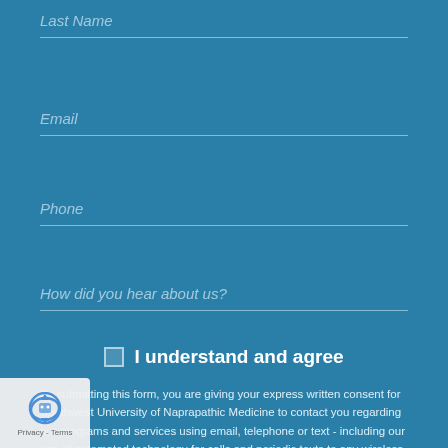Last Name
Email
Phone
How did you hear about us?
I understand and agree
By submitting this form, you are giving your express written consent for Southwest University of Naprapathic Medicine to contact you regarding our programs and services using email, telephone or text - including our use of automated technology for calls and periodic texts to any wireless number you provide. Message and data rates may apply. This consent is not required to purchase goods/services and you may always call us directly at 1-505-629-7376. SUNM values your privacy
[Figure (logo): reCAPTCHA privacy badge with robot icon and 'Privacy - Terms' text]